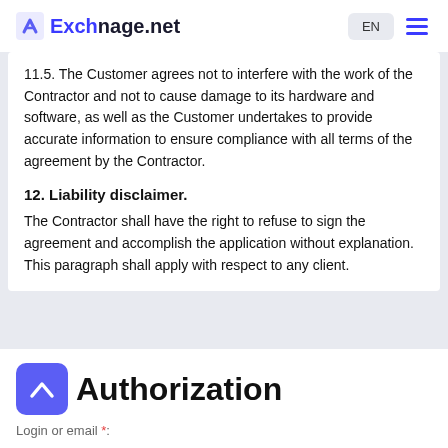Exchnage.net  EN  ☰
11.5. The Customer agrees not to interfere with the work of the Contractor and not to cause damage to its hardware and software, as well as the Customer undertakes to provide accurate information to ensure compliance with all terms of the agreement by the Contractor.
12. Liability disclaimer.
The Contractor shall have the right to refuse to sign the agreement and accomplish the application without explanation. This paragraph shall apply with respect to any client.
Authorization
Login or email *: